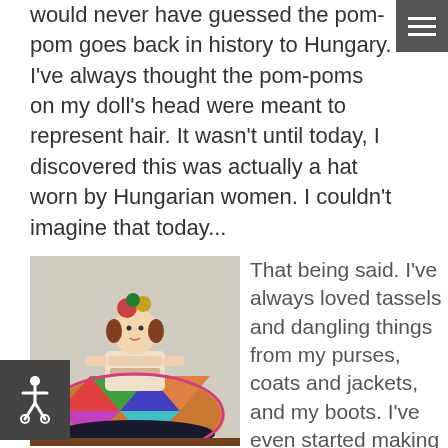would never have guessed the pom-pom goes back in history to Hungary. I've always thought the pom-poms on my doll's head were meant to represent hair. It wasn't until today, I discovered this was actually a hat worn by Hungarian women. I couldn't imagine that today...
[Figure (photo): A decorative doll in traditional Hungarian folk costume with colorful patchwork skirt, embroidered blouse, and pom-pom hat, seated on a surface.]
That being said. I've always loved tassels and dangling things from my purses, coats and jackets, and my boots. I've even started making my own recently. Watch for them..
But, what spurred this post was finding this pattern for a Christmas pom-pom wreath pattern in among my collection of crochet patterns. As you know, I have